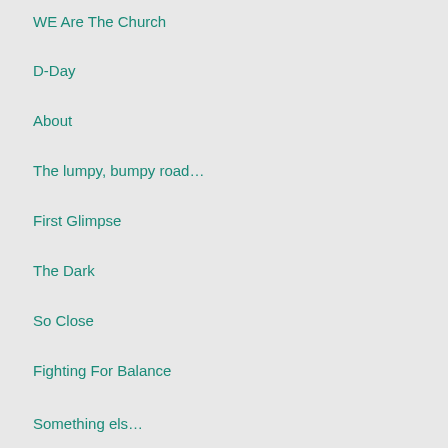WE Are The Church
D-Day
About
The lumpy, bumpy road…
First Glimpse
The Dark
So Close
Fighting For Balance
Something else…